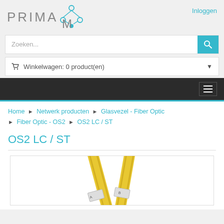[Figure (logo): PRIMACOM logo with cyan network icon]
Inloggen
Zoeken...
Winkelwagen: 0 product(en)
Home ▶ Netwerk producten ▶ Glasvezel - Fiber Optic ▶ Fiber Optic - OS2 ▶ OS2 LC / ST
OS2 LC / ST
[Figure (photo): Yellow fiber optic cables (OS2 LC/ST) shown at an angle on white background]